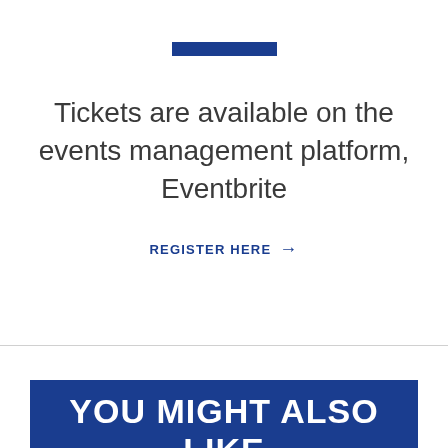[Figure (other): Blue horizontal decorative bar]
Tickets are available on the events management platform, Eventbrite
REGISTER HERE →
YOU MIGHT ALSO LIKE